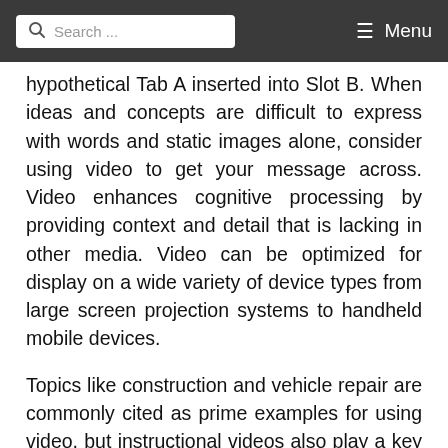Search ... Menu
hypothetical Tab A inserted into Slot B. When ideas and concepts are difficult to express with words and static images alone, consider using video to get your message across. Video enhances cognitive processing by providing context and detail that is lacking in other media. Video can be optimized for display on a wide variety of device types from large screen projection systems to handheld mobile devices.
Topics like construction and vehicle repair are commonly cited as prime examples for using video, but instructional videos also play a key role in software training and developing workplace and